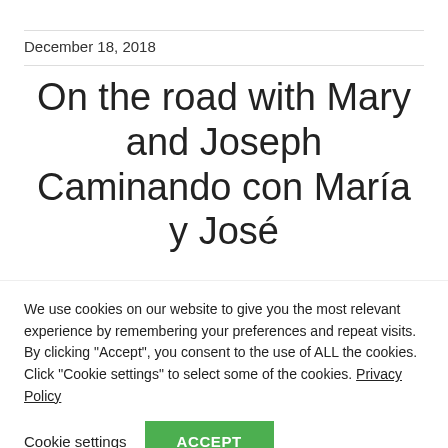December 18, 2018
On the road with Mary and Joseph Caminando con María y José
We use cookies on our website to give you the most relevant experience by remembering your preferences and repeat visits. By clicking "Accept", you consent to the use of ALL the cookies. Click "Cookie settings" to select some of the cookies. Privacy Policy
Cookie settings | ACCEPT